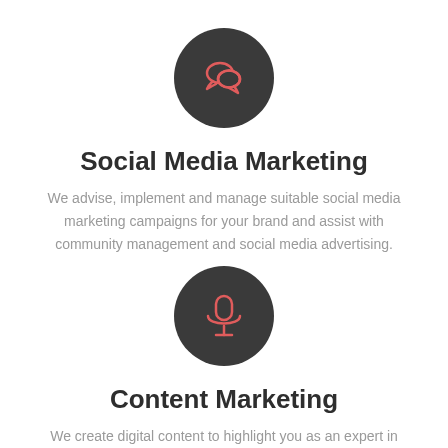[Figure (illustration): Dark grey circle icon with a coral/salmon colored speech bubble chat icon inside]
Social Media Marketing
We advise, implement and manage suitable social media marketing campaigns for your brand and assist with community management and social media advertising.
[Figure (illustration): Dark grey circle icon with a coral/salmon colored microphone icon inside]
Content Marketing
We create digital content to highlight you as an expert in